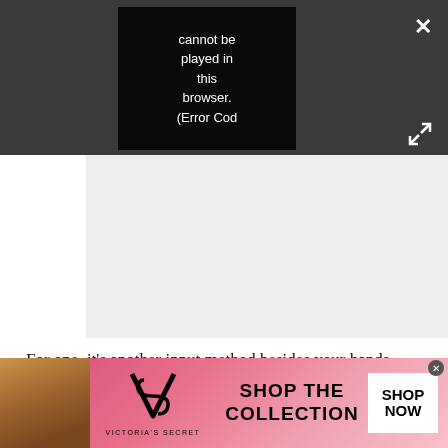[Figure (screenshot): Video player UI with dark grey background showing PLAY SOUND control and close/expand buttons. A black video area displays error text: 'Video cannot be played in this browser. (Error Cod']
For one, it's another input method besides your hands and controller – you can quickly look at something and select it instead
[Figure (screenshot): Victoria's Secret advertisement banner showing a model, VS logo, 'SHOP THE COLLECTION' text, and 'SHOP NOW' button on a pink gradient background]